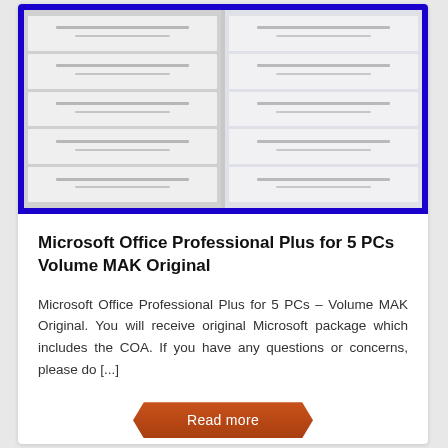[Figure (photo): Blurry photograph of stacked Microsoft Office software boxes/packages arranged in two columns, with a bright blue border around the image]
Microsoft Office Professional Plus for 5 PCs Volume MAK Original
Microsoft Office Professional Plus for 5 PCs – Volume MAK Original. You will receive original Microsoft package which includes the COA. If you have any questions or concerns, please do [...]
Read more